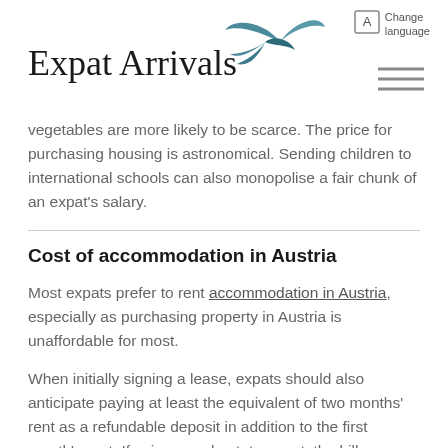Expat Arrivals
vegetables are more likely to be scarce. The price for purchasing housing is astronomical. Sending children to international schools can also monopolise a fair chunk of an expat's salary.
Cost of accommodation in Austria
Most expats prefer to rent accommodation in Austria, especially as purchasing property in Austria is unaffordable for most.
When initially signing a lease, expats should also anticipate paying at least the equivalent of two months' rent as a refundable deposit in addition to the first month's rent. If using a real-estate agent, the bill may amount to an additional two to three months' rent.